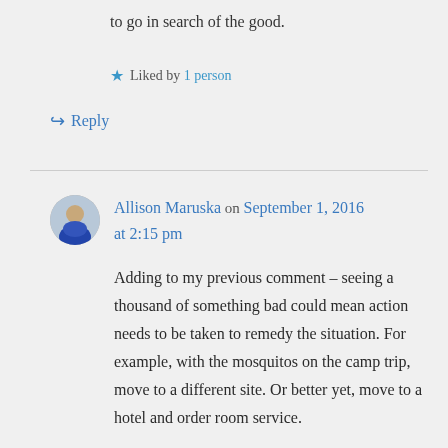to go in search of the good.
★ Liked by 1 person
↳ Reply
Allison Maruska on September 1, 2016 at 2:15 pm
Adding to my previous comment – seeing a thousand of something bad could mean action needs to be taken to remedy the situation. For example, with the mosquitos on the camp trip, move to a different site. Or better yet, move to a hotel and order room service.